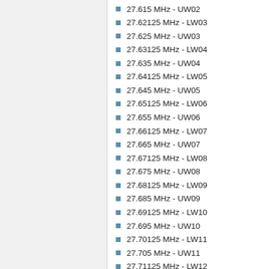27.615 MHz - UW02
27.62125 MHz - LW03
27.625 MHz - UW03
27.63125 MHz - LW04
27.635 MHz - UW04
27.64125 MHz - LW05
27.645 MHz - UW05
27.65125 MHz - LW06
27.655 MHz - UW06
27.66125 MHz - LW07
27.665 MHz - UW07
27.67125 MHz - LW08
27.675 MHz - UW08
27.68125 MHz - LW09
27.685 MHz - UW09
27.69125 MHz - LW10
27.695 MHz - UW10
27.70125 MHz - LW11
27.705 MHz - UW11
27.71125 MHz - LW12
27.715 MHz - UW12
27.72125 MHz - LW13